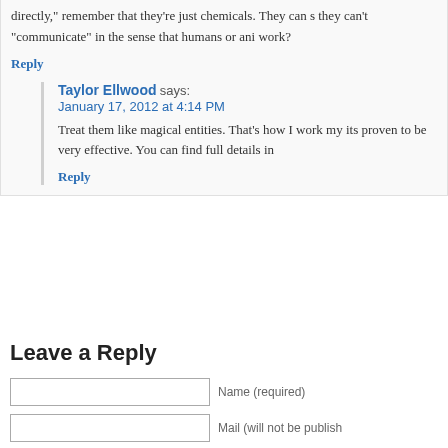directly," remember that they're just chemicals. They can s they can't "communicate" in the sense that humans or ani work?
Reply
Taylor Ellwood says: January 17, 2012 at 4:14 PM
Treat them like magical entities. That's how I work my its proven to be very effective. You can find full details in
Reply
Leave a Reply
Name (required)
Mail (will not be publish
Website